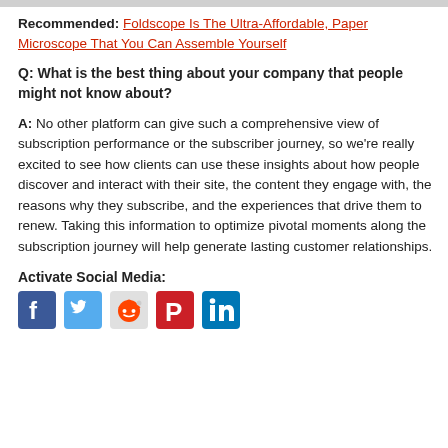Recommended: Foldscope Is The Ultra-Affordable, Paper Microscope That You Can Assemble Yourself
Q: What is the best thing about your company that people might not know about?
A: No other platform can give such a comprehensive view of subscription performance or the subscriber journey, so we're really excited to see how clients can use these insights about how people discover and interact with their site, the content they engage with, the reasons why they subscribe, and the experiences that drive them to renew. Taking this information to optimize pivotal moments along the subscription journey will help generate lasting customer relationships.
Activate Social Media:
[Figure (other): Social media sharing icons: Facebook, Twitter, Reddit, Pinterest, LinkedIn]